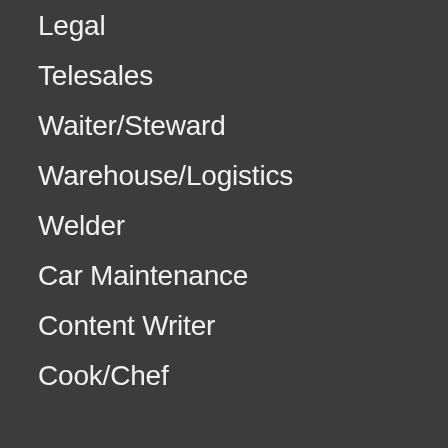Legal
Telesales
Waiter/Steward
Warehouse/Logistics
Welder
Car Maintenance
Content Writer
Cook/Chef